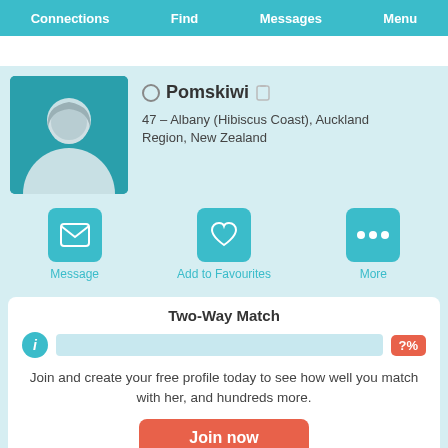Connections  Find  Messages  Menu
[Figure (illustration): Female silhouette avatar placeholder on teal background square]
Pomskiwi
47 – Albany (Hibiscus Coast), Auckland Region, New Zealand
[Figure (infographic): Three action buttons: Message (envelope icon), Add to Favourites (heart icon), More (ellipsis icon)]
Two-Way Match
Join and create your free profile today to see how well you match with her, and hundreds more.
Join now
Online: More than 6 months ago